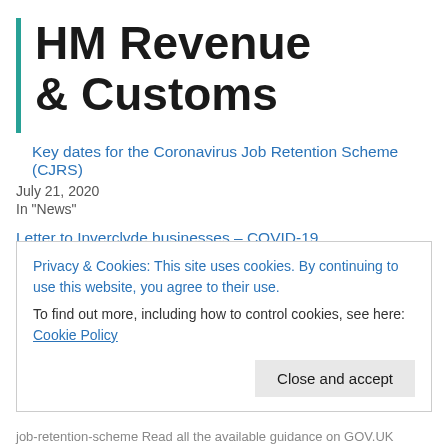[Figure (logo): HM Revenue & Customs logo with teal vertical bar on left and bold black text]
Key dates for the Coronavirus Job Retention Scheme (CJRS)
July 21, 2020
In "News"
Letter to Inverclyde businesses – COVID-19
Dear Inverclyde business, Coronavirus is affecting all our daily lives including our workplaces. I recognise the very challenging position that many employers and employees are now facing. In this public health crisis it is vital that ALL businesses act responsibly and align fully with
Privacy & Cookies: This site uses cookies. By continuing to use this website, you agree to their use.
To find out more, including how to control cookies, see here: Cookie Policy
Close and accept
job-retention-scheme Read all the available guidance on GOV.UK